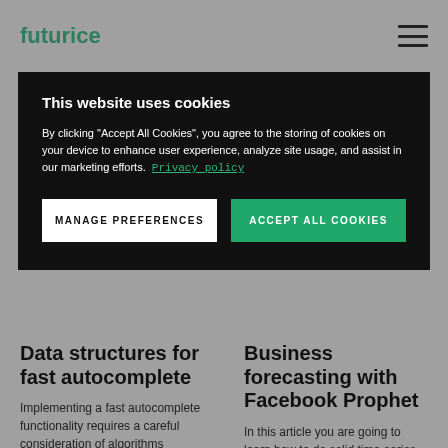futurice
This website uses cookies
By clicking "Accept All Cookies", you agree to the storing of cookies on your device to enhance user experience, analyze site usage, and assist in our marketing efforts. Privacy policy
MANAGE PREFERENCES
ACCEPT ALL COOKIES
Data structures for fast autocomplete
Implementing a fast autocomplete functionality requires a careful consideration of algorithms
Business forecasting with Facebook Prophet
In this article you are going to learn how to do solid time-series analysis